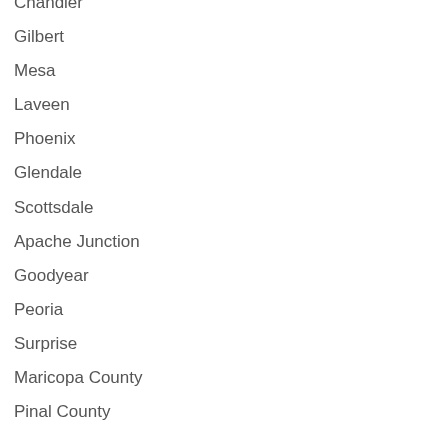Chandler
Gilbert
Mesa
Laveen
Phoenix
Glendale
Scottsdale
Apache Junction
Goodyear
Peoria
Surprise
Maricopa County
Pinal County